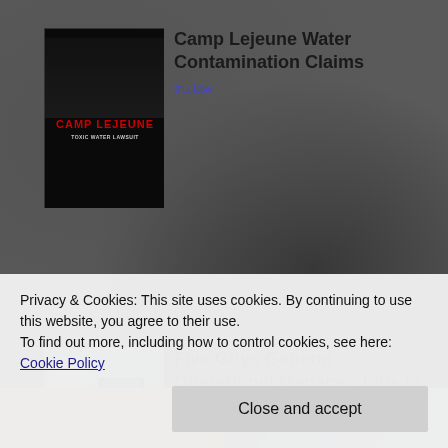[Figure (photo): Camp Lejeune Toxic Water Lawsuit advertisement image with red text on dark background]
Camp Lejeune Water Contamination Claims
tru.law
[Figure (photo): People working at a desk with tablets and documents - Five Guys job advertisement image]
Five Guys General Operational Manager Jobs In Ashburn Apply Now
jobble.com
Privacy & Cookies: This site uses cookies. By continuing to use this website, you agree to their use.
To find out more, including how to control cookies, see here: Cookie Policy
Close and accept